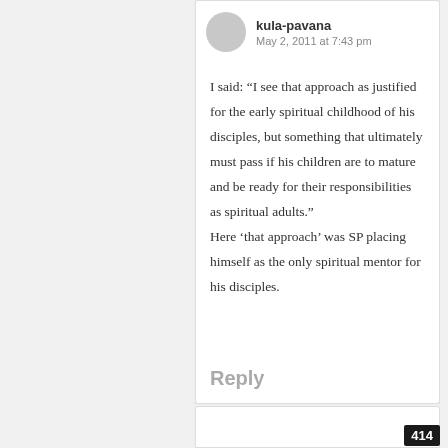kula-pavana — May 2, 2011 at 7:43 pm
I said: “I see that approach as justified for the early spiritual childhood of his disciples, but something that ultimately must pass if his children are to mature and be ready for their responsibilities as spiritual adults.” Here ‘that approach’ was SP placing himself as the only spiritual mentor for his disciples.
Reply
414